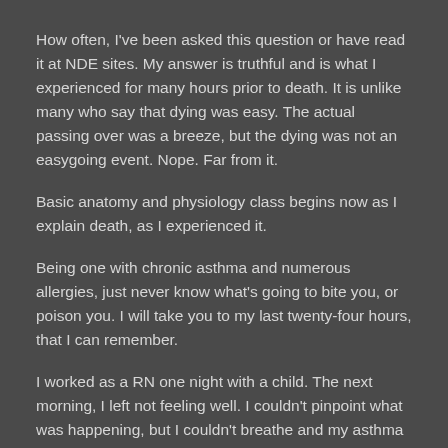How often, I've been asked this question or have read it at NDE sites. My answer is truthful and is what I experienced for many hours prior to death. It is unlike many who say that dying was easy. The actual passing over was a breeze, but the dying was not an easygoing event. Nope. Far from it.
Basic anatomy and physiology class begins now as I explain death, as I experienced it.
Being one with chronic asthma and numerous allergies, just never know what's going to bite you, or poison you. I will take you to my last twenty-four hours, that I can remember.
I worked as a RN one night with a child. The next morning, I left not feeling well. I couldn't pinpoint what was happening, but I couldn't breathe and my asthma began to escalate. I drove home with my inhaler in hand.